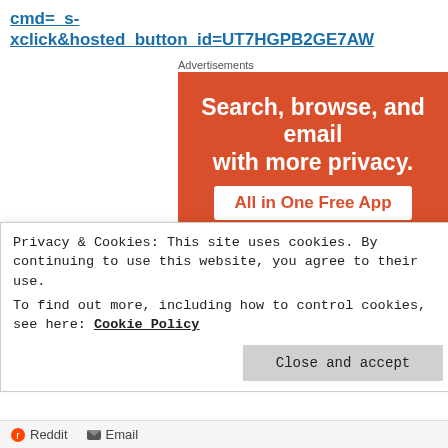cmd=_s-xclick&hosted_button_id=UT7HGPB2GE7AW
Advertisements
[Figure (illustration): DuckDuckGo advertisement: orange background with white bold text 'Search, browse, and email with more privacy.' and a white badge saying 'All in One Free App' in orange text, with a phone showing the DuckDuckGo app logo]
Privacy & Cookies: This site uses cookies. By continuing to use this website, you agree to their use.
To find out more, including how to control cookies, see here: Cookie Policy
Close and accept
Reddit  Email